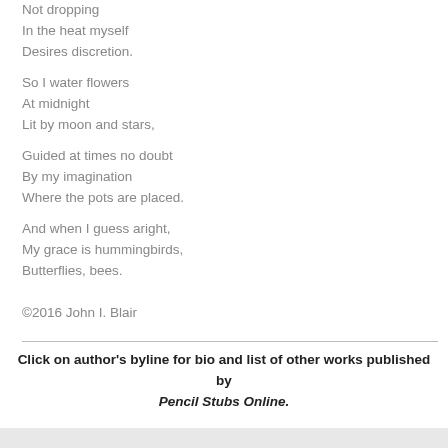Not dropping
In the heat myself
Desires discretion.

So I water flowers
At midnight
Lit by moon and stars,

Guided at times no doubt
By my imagination
Where the pots are placed.

And when I guess aright,
My grace is hummingbirds,
Butterflies, bees.
©2016 John I. Blair
Click on author's byline for bio and list of other works published by Pencil Stubs Online.